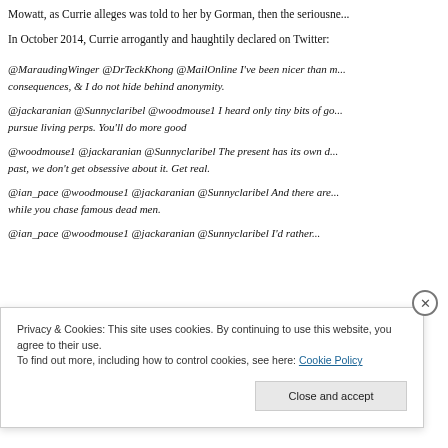Mowatt, as Currie alleges was told to her by Gorman, then the seriousness...
In October 2014, Currie arrogantly and haughtily declared on Twitter:
@MaraudingWinger @DrTeckKhong @MailOnline I've been nicer than m... consequences, & I do not hide behind anonymity.
@jackaranian @Sunnyclaribel @woodmouse1 I heard only tiny bits of go... pursue living perps. You'll do more good
@woodmouse1 @jackaranian @Sunnyclaribel The present has its own d... past, we don't get obsessive about it. Get real.
@ian_pace @woodmouse1 @jackaranian @Sunnyclaribel And there are... while you chase famous dead men.
@ian_pace @woodmouse1 @jackaranian @Sunnyclaribel I'd rather...
Privacy & Cookies: This site uses cookies. By continuing to use this website, you agree to their use. To find out more, including how to control cookies, see here: Cookie Policy
Close and accept